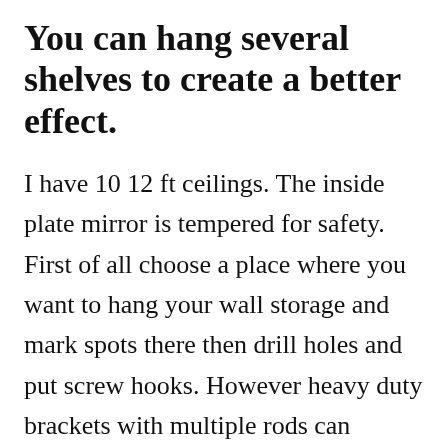You can hang several shelves to create a better effect.
I have 10 12 ft ceilings. The inside plate mirror is tempered for safety. First of all choose a place where you want to hang your wall storage and mark spots there then drill holes and put screw hooks. However heavy duty brackets with multiple rods can handle up to 150 pounds. With its sleek straight lines and its hidden bracket hanging system this shelf adds character and elegance to your home. Use it over the